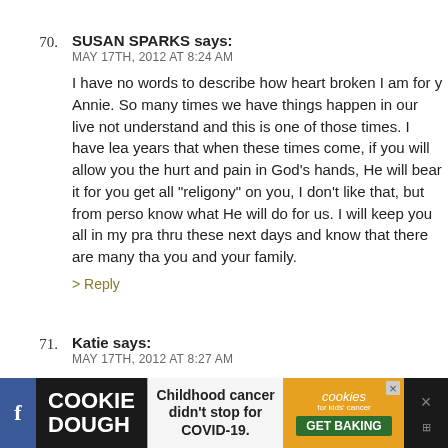70. SUSAN SPARKS says:
MAY 17TH, 2012 AT 8:24 AM

I have no words to describe how heart broken I am for y Annie. So many times we have things happen in our live not understand and this is one of those times. I have lea years that when these times come, if you will allow you the hurt and pain in God's hands, He will bear it for you get all "religony" on you, I don't like that, but from perso know what He will do for us. I will keep you all in my pra thru these next days and know that there are many tha you and your family.

> Reply
71. Katie says:
MAY 17TH, 2012 AT 8:27 AM

I couldn't comment yesterday because every other wor expletive. I just can't believe the universe can't give you
[Figure (infographic): Cookie Dough advertisement banner: 'Childhood cancer didn't stop for COVID-19.' with Cookie Dough and Cookies for Kids' Cancer logos and GET BAKING button]